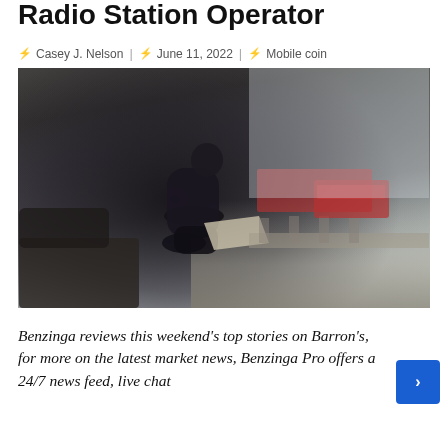Radio Station Operator
Casey J. Nelson  |  June 11, 2022  |  Mobile coin
[Figure (photo): Man sitting on a stone monument reading a newspaper, with a bridge and red double-decker bus visible in the background (London).]
Benzinga reviews this weekend’s top stories on Barron’s, for more on the latest market news, Benzinga Pro offers a 24/7 news feed, live chat